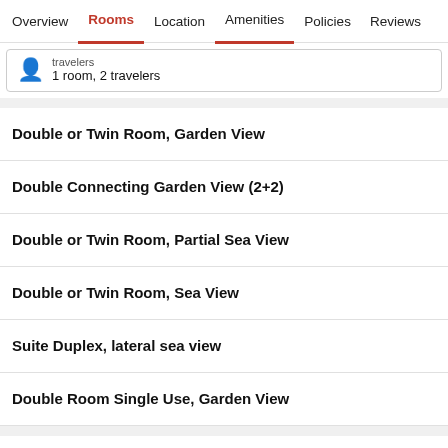Overview | Rooms | Location | Amenities | Policies | Reviews
travelers
1 room, 2 travelers
Double or Twin Room, Garden View
Double Connecting Garden View (2+2)
Double or Twin Room, Partial Sea View
Double or Twin Room, Sea View
Suite Duplex, lateral sea view
Double Room Single Use, Garden View
About this area